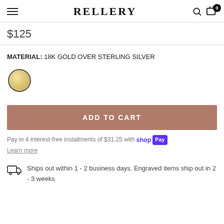RELLERY
$125
MATERIAL: 18K GOLD OVER STERLING SILVER
[Figure (illustration): Gold color swatch circle with yellow/gold gradient fill and dark border]
ADD TO CART
Pay in 4 interest-free installments of $31.25 with shop Pay
Learn more
Ships out within 1 - 2 business days. Engraved items ship out in 2 - 3 weeks